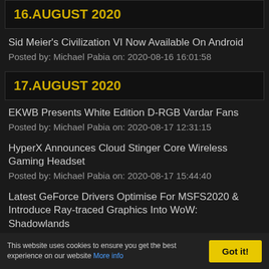16.AUGUST 2020
Sid Meier's Civilization VI Now Available On Android
Posted by: Michael Pabia on: 2020-08-16 16:01:58
17.AUGUST 2020
EKWB Presents White Edition D-RGB Vardar Fans
Posted by: Michael Pabia on: 2020-08-17 12:31:15
HyperX Announces Cloud Stinger Core Wireless Gaming Headset
Posted by: Michael Pabia on: 2020-08-17 15:44:40
Latest GeForce Drivers Optimise For MSFS2020 & Introduce Ray-traced Graphics Into WoW: Shadowlands
Posted by: Tim Harmer on: 2020-08-17 19:19:41
This website uses cookies to ensure you get the best experience on our website More info